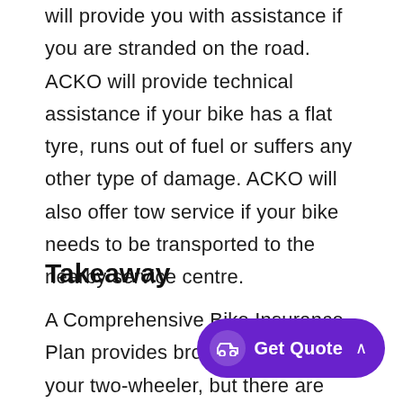will provide you with assistance if you are stranded on the road. ACKO will provide technical assistance if your bike has a flat tyre, runs out of fuel or suffers any other type of damage. ACKO will also offer tow service if your bike needs to be transported to the nearby service centre.
Takeaway
A Comprehensive Bike Insurance Plan provides broad coverage for your two-wheeler, but there are specific policy exclusions. To fill that void, you can purchase add-ons depending on your riding style and the type of two-wheeler you own. At